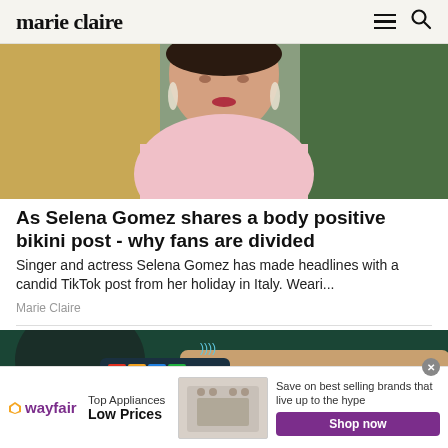marie claire
[Figure (photo): Close-up photo of a woman in a pink turtleneck with dangling crystal earrings, green foliage in background]
As Selena Gomez shares a body positive bikini post - why fans are divided
Singer and actress Selena Gomez has made headlines with a candid TikTok post from her holiday in Italy. Weari...
Marie Claire
[Figure (photo): Close-up photo of a hand using a contactless payment device on a card reader, teal/dark green background]
[Figure (advertisement): Wayfair advertisement banner: Top Appliances Low Prices, image of a range/oven, Save on best selling brands that live up to the hype. Shop now button.]